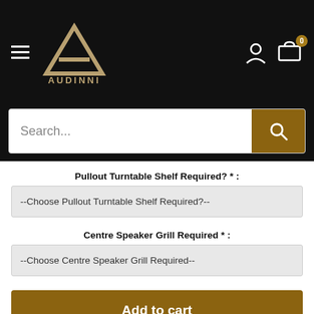Audinni – Navigation header with hamburger menu, logo, user icon, and cart (0)
Search...
Pullout Turntable Shelf Required? *:
--Choose Pullout Turntable Shelf Required?--
Centre Speaker Grill Required *:
--Choose Centre Speaker Grill Required--
Add to cart
Share this product